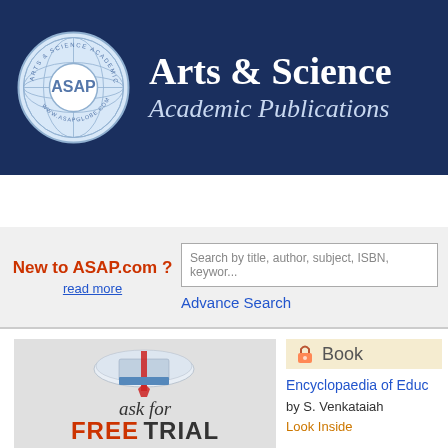[Figure (logo): Arts & Science Academic Publications (ASAP) header banner with logo circle containing globe and ASAP text on dark navy background]
Arts & Science
Academic Publications
[Figure (infographic): Navigation bar with HOME, ABOUT US, BOOKS, JOURNALS menu items on dark navy background]
New to ASAP.com ?
read more
Search by title, author, subject, ISBN, keyword
Advance Search
[Figure (infographic): Ask for FREE TRIAL promotional banner with illustrated open book graphic on grey background]
Book
Encyclopaedia of Educ
by S. Venkataiah
Look Inside